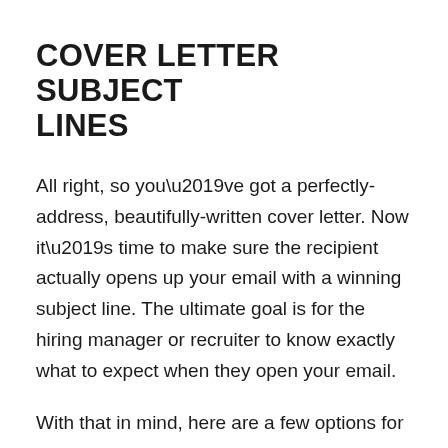COVER LETTER SUBJECT LINES
All right, so you’ve got a perfectly-address, beautifully-written cover letter. Now it’s time to make sure the recipient actually opens up your email with a winning subject line. The ultimate goal is for the hiring manager or recruiter to know exactly what to expect when they open your email.
With that in mind, here are a few options for